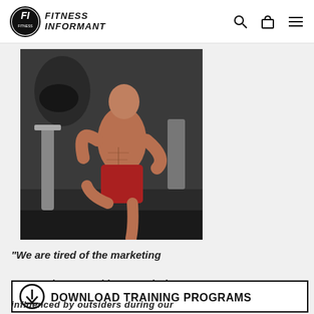FITNESS INFORMANT
[Figure (photo): Shirtless muscular man posing in a gym, wearing red shorts, leaning on gym equipment, with a graffiti-style mural in the background]
“We are tired of the marketing companies overtaking OUR industry. At
[Figure (infographic): Download Training Programs banner with a download icon (circle with down arrow) and bold text DOWNLOAD TRAINING PROGRAMS]
influenced by outsiders during our